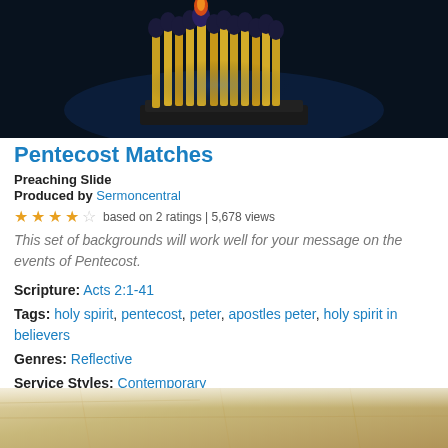[Figure (photo): Photo of matchsticks arranged in a row against a dark blue background, with one match lit at the top with an orange flame]
Pentecost Matches
Preaching Slide
Produced by Sermoncentral
★★★★☆ based on 2 ratings | 5,678 views
This set of backgrounds will work well for your message on the events of Pentecost.
Scripture: Acts 2:1-41
Tags: holy spirit, pentecost, peter, apostles peter, holy spirit in believers
Genres: Reflective
Service Styles: Contemporary
[Figure (photo): Partial view of a stone or parchment textured background at the bottom of the page]